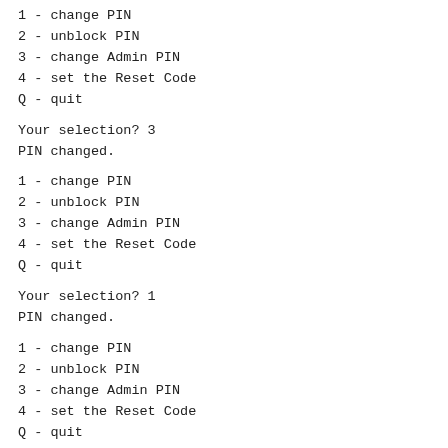1 - change PIN
2 - unblock PIN
3 - change Admin PIN
4 - set the Reset Code
Q - quit
Your selection? 3
PIN changed.
1 - change PIN
2 - unblock PIN
3 - change Admin PIN
4 - set the Reset Code
Q - quit
Your selection? 1
PIN changed.
1 - change PIN
2 - unblock PIN
3 - change Admin PIN
4 - set the Reset Code
Q - quit
Your selection? 4
Reset Code set.
1 - change PIN
2 - unblock PIN
3 - change Admin PIN